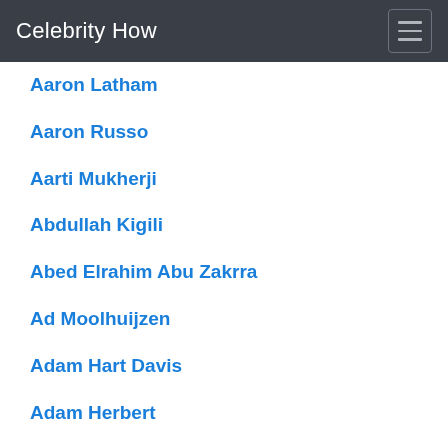Celebrity How
Aaron Latham
Aaron Russo
Aarti Mukherji
Abdullah Kigili
Abed Elrahim Abu Zakrra
Ad Moolhuijzen
Adam Hart Davis
Adam Herbert
Adolfo Zaldivar
Adrian Garrett